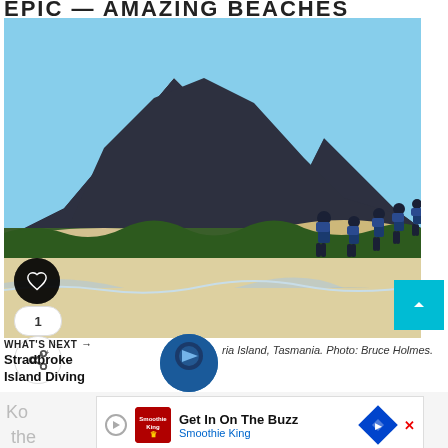EPIC — AMAZING BEACHES
[Figure (photo): Group of hikers with backpacks walking along a white sandy beach with a large dark mountain in the background, blue sky with clouds, green scrubland on the dunes. Hikers walking away from camera. Photo taken in Maria Island, Tasmania.]
ria Island, Tasmania. Photo: Bruce Holmes.
WHAT'S NEXT → Stradbroke Island Diving
Ko... lay of the... akfast
Get In On The Buzz
Smoothie King